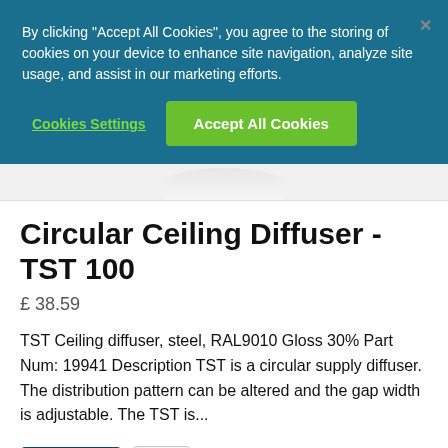By clicking "Accept All Cookies", you agree to the storing of cookies on your device to enhance site navigation, analyze site usage, and assist in our marketing efforts.
Cookies Settings
Accept All Cookies
[Figure (screenshot): Partial product image of circular ceiling diffuser, showing rounded bottom edge]
Circular Ceiling Diffuser - TST 100
£ 38.59
TST Ceiling diffuser, steel, RAL9010 Gloss 30% Part Num: 19941 Description TST is a circular supply diffuser. The distribution pattern can be altered and the gap width is adjustable. The TST is...
View